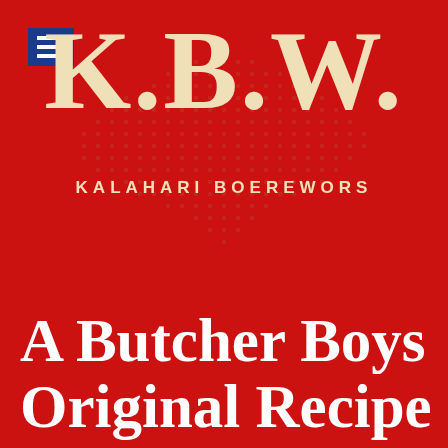[Figure (logo): KBW Kalahari Boerewors logo on red background with large serif letters K.B.W., dot pattern, blue menu icon, and subtitle KALAHARI BOEREWORS]
A Butcher Boys Original Recipe